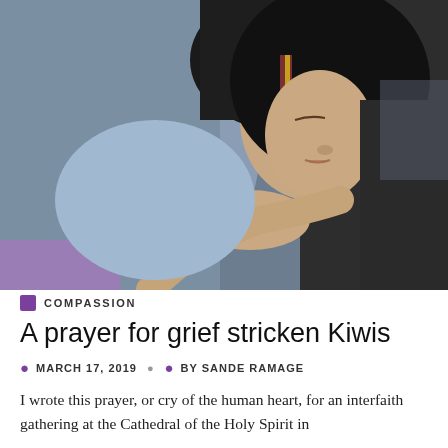[Figure (photo): A woman wearing a black headscarf with decorative trim embraces another person, eyes closed, in a compassionate hug. She is wearing a dark ring on her hand. The image depicts an emotional embrace.]
COMPASSION
A prayer for grief stricken Kiwis
MARCH 17, 2019   BY SANDE RAMAGE
I wrote this prayer, or cry of the human heart, for an interfaith gathering at the Cathedral of the Holy Spirit in